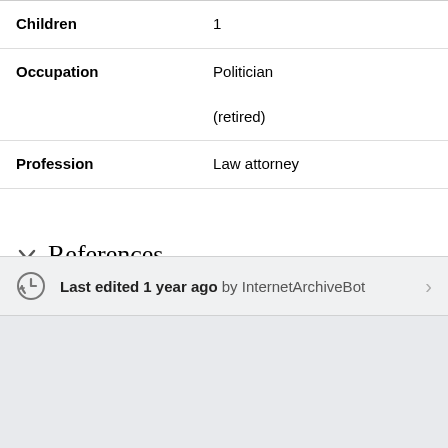| Children | 1 |
| Occupation | Politician
(retired) |
| Profession | Law attorney |
References
Last edited 1 year ago by InternetArchiveBot